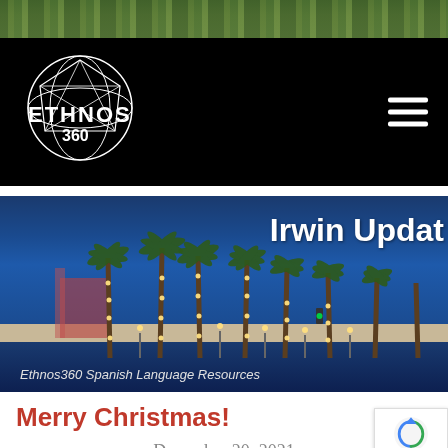[Figure (logo): Ethnos360 logo: white globe wireframe circle with ETHNOS 360 text, on black background]
[Figure (photo): Night waterfront scene with palm trees decorated with lights reflecting on water, labeled 'Irwin Update' in white bold text overlay, with caption 'Ethnos360 Spanish Language Resources']
Ethnos360 Spanish Language Resources
Merry Christmas!
December 20, 2021